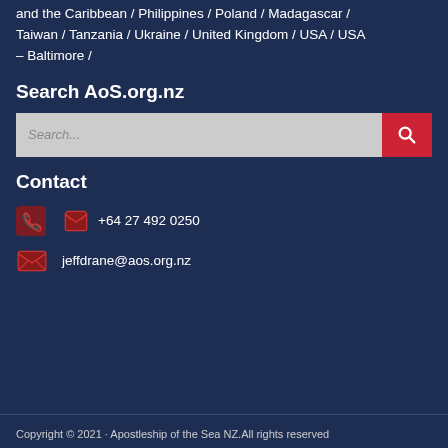and the Caribbean / Philippines / Poland / Madagascar / Taiwan / Tanzania / Ukraine / United Kingdom / USA / USA – Baltimore /
Search AoS.org.nz
[Figure (other): Search box with text input and red search button with magnifying glass icon]
Contact
+64 27 492 0250
jeffdrane@aos.org.nz
Copyright © 2021 · Apostleship of the Sea NZ.All rights reserved